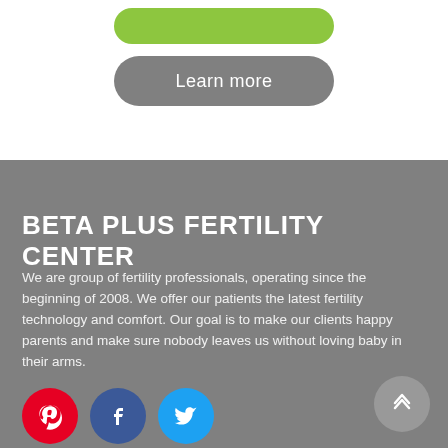[Figure (other): Green rounded button (partially visible at top)]
[Figure (other): Gray rounded 'Learn more' button]
BETA PLUS FERTILITY CENTER
We are group of fertility professionals, operating since the beginning of 2008. We offer our patients the latest fertility technology and comfort. Our goal is to make our clients happy parents and make sure nobody leaves us without loving baby in their arms.
[Figure (other): Social media icons: Pinterest (red), Facebook (blue), Twitter (light blue), and a gray scroll-to-top button]